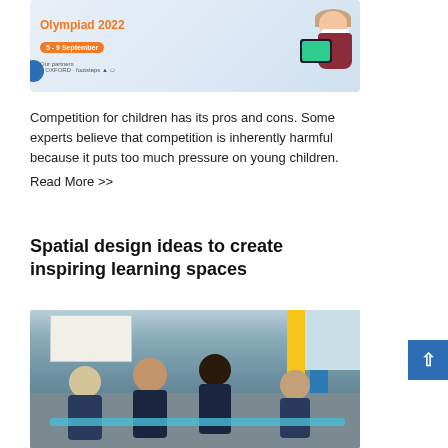[Figure (photo): Educational Olympiad 2022 banner featuring a girl holding a tablet, with date 5-9 September and partner logos including Oxford and Footsteps]
Competition for children has its pros and cons. Some experts believe that competition is inherently harmful because it puts too much pressure on young children.
Read More >>
Spatial design ideas to create inspiring learning spaces
[Figure (photo): Children in school uniforms sitting around tables in a colorful classroom with wall displays and yellow and blue accent strips]